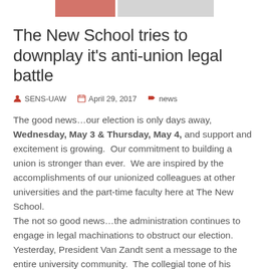[Figure (photo): Two partial images at the top of the page, one reddish on left and one grey on right]
The New School tries to downplay it's anti-union legal battle
SENS-UAW   April 29, 2017   news
The good news…our election is only days away, Wednesday, May 3 & Thursday, May 4, and support and excitement is growing.  Our commitment to building a union is stronger than ever.  We are inspired by the accomplishments of our unionized colleagues at other universities and the part-time faculty here at The New School.
The not so good news…the administration continues to engage in legal machinations to obstruct our election.  Yesterday, President Van Zandt sent a message to the entire university community.  The collegial tone of his message is at odds with the legal campaign the administration has waged against our union.  President Van Zandt says that the New School "look[s] forward to hosting the election." Yet, for two